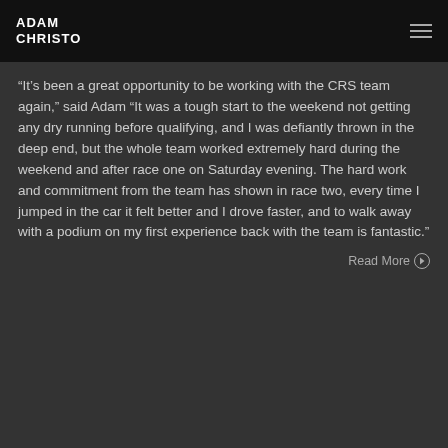ADAM CHRISTO
“It’s been a great opportunity to be working with the CRS team again,” said Adam “It was a tough start to the weekend not getting any dry running before qualifying, and I was defiantly thrown in the deep end, but the whole team worked extremely hard during the weekend and after race one on Saturday evening. The hard work and commitment from the team has shown in race two, every time I jumped in the car it felt better and I drove faster, and to walk away with a podium on my first experience back with the team is fantastic.”
Read More ➡